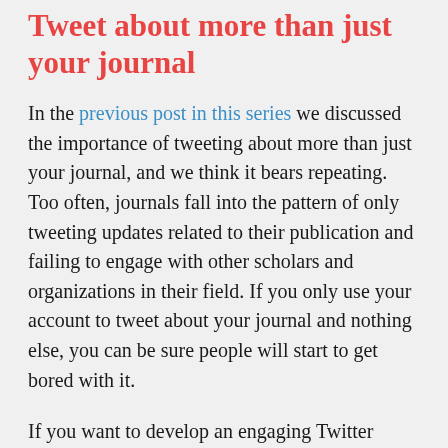Tweet about more than just your journal
In the previous post in this series we discussed the importance of tweeting about more than just your journal, and we think it bears repeating. Too often, journals fall into the pattern of only tweeting updates related to their publication and failing to engage with other scholars and organizations in their field. If you only use your account to tweet about your journal and nothing else, you can be sure people will start to get bored with it.
If you want to develop an engaging Twitter presence for your journal, it's paramount that you post about